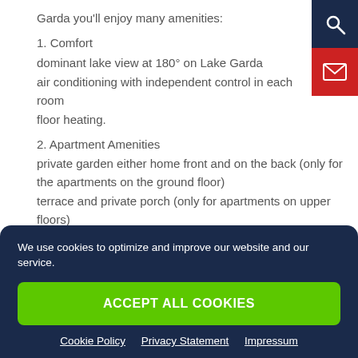Garda you'll enjoy many amenities:
1. Comfort
dominant lake view at 180° on Lake Garda
air conditioning with independent control in each room
floor heating.
2. Apartment Amenities
private garden either home front and on the back (only for the apartments on the ground floor)
terrace and private porch (only for apartments on upper floors)
elevator from the garage to the luxury house for sale
We use cookies to optimize and improve our website and our service.
ACCEPT ALL COOKIES
Cookie Policy  Privacy Statement  Impressum